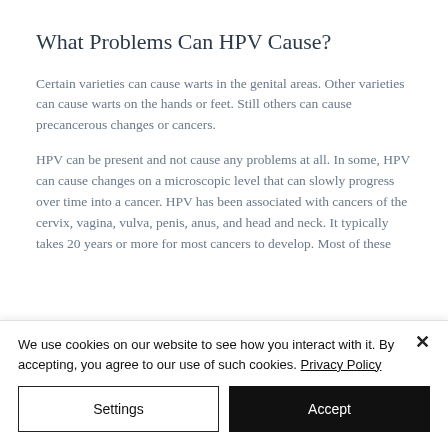What Problems Can HPV Cause?
Certain varieties can cause warts in the genital areas. Other varieties can cause warts on the hands or feet. Still others can cause precancerous changes or cancers.
HPV can be present and not cause any problems at all. In some, HPV can cause changes on a microscopic level that can slowly progress over time into a cancer. HPV has been associated with cancers of the cervix, vagina, vulva, penis, anus, and head and neck. It typically takes 20 years or more for most cancers to develop. Most of these
We use cookies on our website to see how you interact with it. By accepting, you agree to our use of such cookies. Privacy Policy